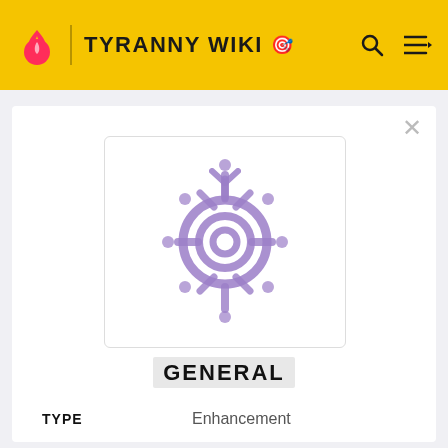TYRANNY WIKI
[Figure (illustration): A purple stylized sun/gear-like icon with concentric circles in the center and protruding spokes/lines, with small dots scattered around it, on a white panel background. This is the icon for 'General' in the Tyranny Wiki game wiki.]
GENERAL
| TYPE |  |
| --- | --- |
| TYPE | Enhancement |